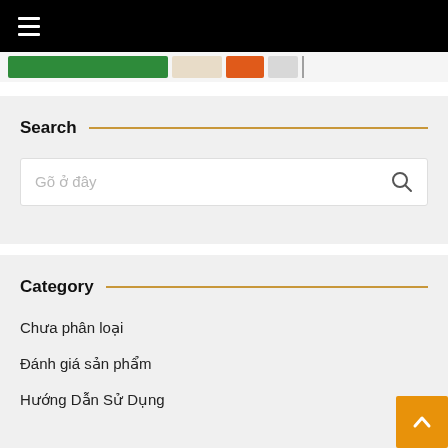Navigation bar with hamburger menu icon
[Figure (screenshot): Colored navigation stripe with green, cream, orange, and grey blocks]
Search
Gõ ở đây (search placeholder)
Category
Chưa phân loại
Đánh giá sản phẩm
Hướng Dẫn Sử Dụng